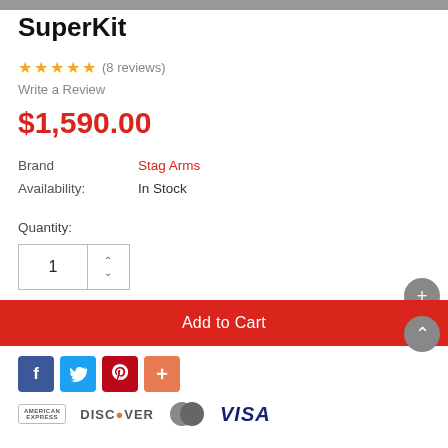SuperKit
★★★★★ (8 reviews)
Write a Review
$1,590.00
Brand   Stag Arms
Availability:   In Stock
Quantity:
1
Add to Cart
[Figure (other): Social share buttons: Facebook, Twitter, Pinterest, and a plus button]
[Figure (other): Payment method logos: American Express, Discover, MasterCard, VISA]